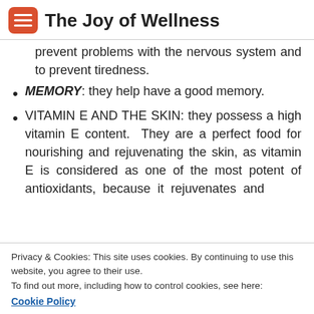The Joy of Wellness
prevent problems with the nervous system and to prevent tiredness.
MEMORY: they help have a good memory.
VITAMIN E AND THE SKIN: they possess a high vitamin E content. They are a perfect food for nourishing and rejuvenating the skin, as vitamin E is considered as one of the most potent of antioxidants, because it rejuvenates and
Privacy & Cookies: This site uses cookies. By continuing to use this website, you agree to their use.
To find out more, including how to control cookies, see here:
Cookie Policy
Close and accept
...highly recommended food for elderly people, women who are pregnant or nursing, and children who are growing. It can be an